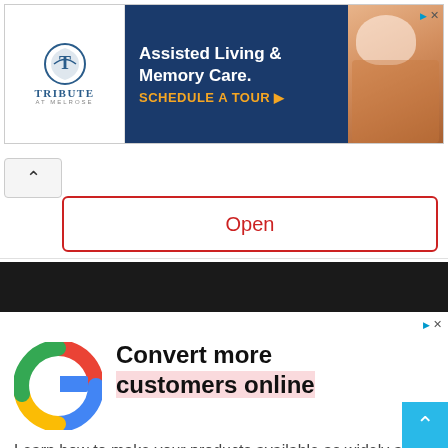[Figure (illustration): Tribute at Melrose assisted living advertisement banner with logo on white left, dark navy blue center with white bold text 'Assisted Living & Memory Care.' and gold text 'SCHEDULE A TOUR ▶', and a photo of elderly person on right]
[Figure (screenshot): UI element: scroll-up chevron button (^) on left, and a red-bordered white button with red text 'Open' on right]
[Figure (illustration): Dark/black horizontal navigation bar]
[Figure (illustration): Google advertisement: Google G logo on left, bold text 'Convert more customers online' on right with pink highlight on second line, and body text 'Learn how to make your products available as widely as possible to grow sales.']